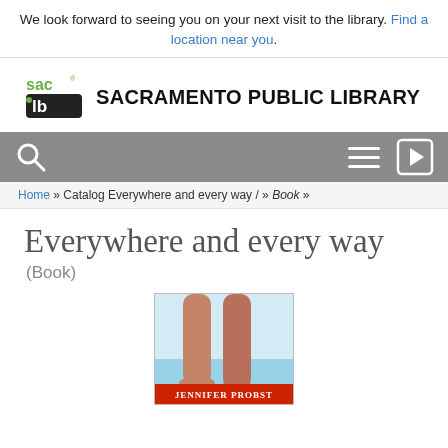We look forward to seeing you on your next visit to the library. Find a location near you.
[Figure (logo): Sacramento Public Library logo with stylized 'sac' text in green and 'ib' letters]
SACRAMENTO PUBLIC LIBRARY
[Figure (screenshot): Navigation bar with search icon, hamburger menu icon, and login arrow icon on grey background]
Home » Catalog Everywhere and every way / » Book »
Everywhere and every way
(Book)
[Figure (photo): Book cover of 'Everywhere and Every Way' showing bare feet/legs standing on what appears to be a pool or beach edge, with title text at bottom]